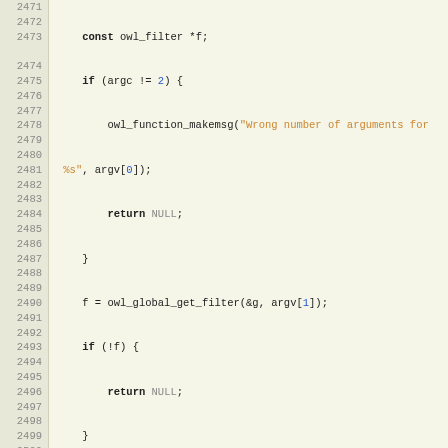[Figure (screenshot): Source code viewer showing C code lines 2471-2502, with line numbers on left in tan/beige background and code on right with syntax highlighting. Keywords in bold, function name owl_command_search in red/bold, string literals in orange, numeric literals in blue.]